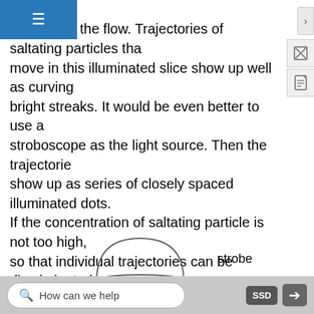the flow. Trajectories of saltating particles that move in this illuminated slice show up well as curving bright streaks. It would be even better to use a stroboscope as the light source. Then the trajectories show up as series of closely spaced illuminated dots. If the concentration of saltating particle is not too high, so that individual trajectories can be discriminated, then by making sufficiently careful measurements of a photographic image you could compute velocities and accelerations of individual saltating particles along their trajectories.
[Figure (illustration): Diagram showing a strobe light (dome-shaped) above a collimator (flat plate with angled slits), with labels 'strobe' and 'collimator'.]
How can we help